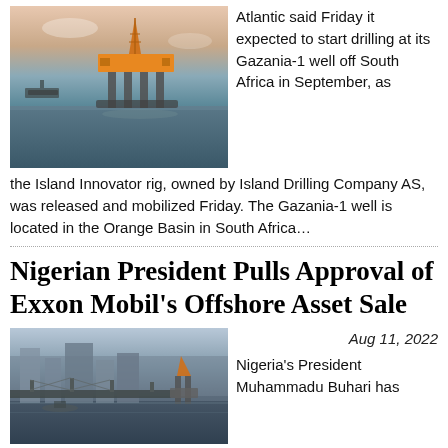[Figure (photo): Offshore oil drilling rig platform at sea with a ship visible in the background, taken at dusk or dawn]
Atlantic said Friday it expected to start drilling at its Gazania-1 well off South Africa in September, as the Island Innovator rig, owned by Island Drilling Company AS, was released and mobilized Friday. The Gazania-1 well is located in the Orange Basin in South Africa...
Nigerian President Pulls Approval of Exxon Mobil's Offshore Asset Sale
[Figure (photo): Aerial view of a Nigerian coastal city (Lagos) with a harbor and oil rigs visible in the water]
Aug 11, 2022
Nigeria's President Muhammadu Buhari has